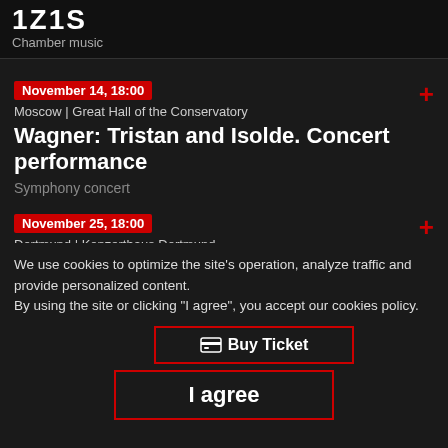1Z1S | Composers at Born Music | Chamber music
November 14, 18:00 | Moscow | Great Hall of the Conservatory | Wagner: Tristan and Isolde. Concert performance | Symphony concert
November 25, 18:00 | Dortmund | Konzerthaus Dortmund | Wagner: Tristan and Isolde. Opera in concert
We use cookies to optimize the site's operation, analyze traffic and provide personalized content.
By using the site or clicking "I agree", you accept our cookies policy.
Buy Ticket
I agree